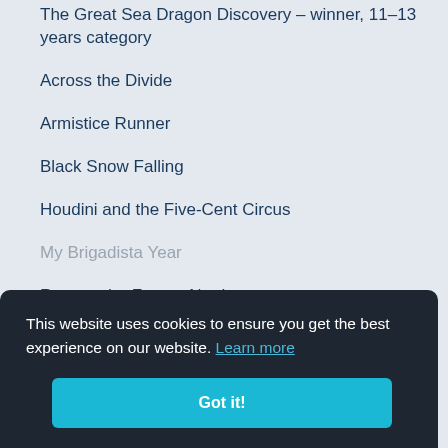The Great Sea Dragon Discovery – winner, 11–13 years category
Across the Divide
Armistice Runner
Black Snow Falling
Houdini and the Five-Cent Circus
My Brigadista Year
Race to the Frozen North
This website uses cookies to ensure you get the best experience on our website. Learn more
Got it!